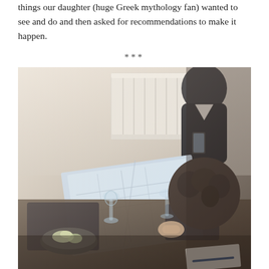things our daughter (huge Greek mythology fan) wanted to see and do and then asked for recommendations to make it happen.
***
[Figure (photo): Two people sitting at a dark table looking at an open map. One person standing in the background holding a phone. A white radiator is visible in the background. On the table there is a bowl of food, wine glasses, and papers.]